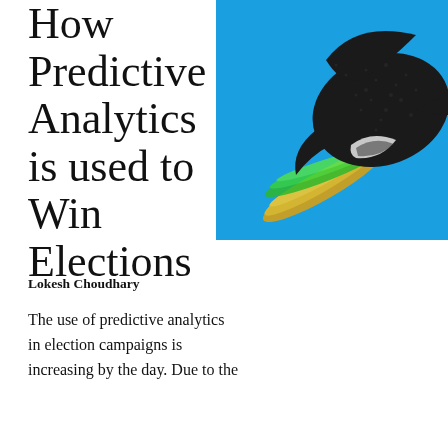How Predictive Analytics is used to Win Elections
[Figure (illustration): Stylized black Twitter bird silhouette on a bright blue background, with green and orange/yellow spray or streaks emanating from the bird, suggesting data or social media activity.]
Lokesh Choudhary
The use of predictive analytics in election campaigns is increasing by the day. Due to the